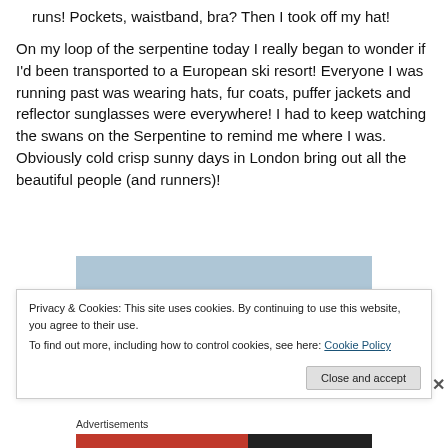runs! Pockets, waistband, bra?  Then I took off my hat!
On my loop of the serpentine today I really began to wonder if I'd been transported to a European ski resort! Everyone I was running past was wearing hats, fur coats, puffer jackets and reflector sunglasses were everywhere! I had to keep watching the swans on the Serpentine to remind me where I was. Obviously cold crisp sunny days in London bring out all the beautiful people (and runners)!
[Figure (photo): A photo showing what appears to be a swan or bird figure against a light blue background]
Privacy & Cookies: This site uses cookies. By continuing to use this website, you agree to their use.
To find out more, including how to control cookies, see here: Cookie Policy
Close and accept
Advertisements